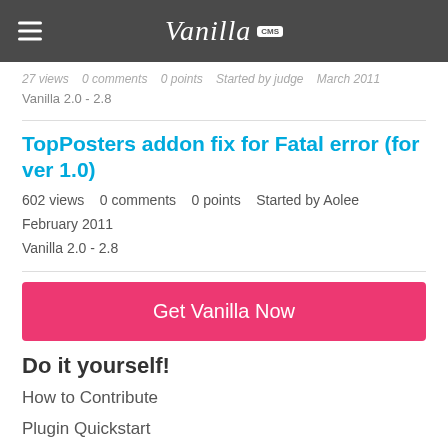Vanilla CMS
27 views   0 comments   0 points   Started by judge   March 2011
Vanilla 2.0 - 2.8
TopPosters addon fix for Fatal error (for ver 1.0)
602 views   0 comments   0 points   Started by Aolee   February 2011
Vanilla 2.0 - 2.8
[Figure (other): Pink Get Vanilla Now button]
Do it yourself!
How to Contribute
Plugin Quickstart
Vanilla On GitHub
This Directory's Code
What is this stuff?